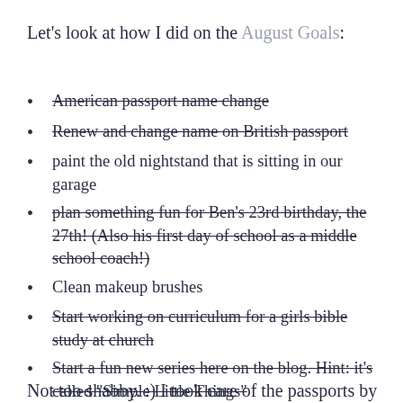Let's look at how I did on the August Goals:
American passport name change
Renew and change name on British passport
paint the old nightstand that is sitting in our garage
plan something fun for Ben's 23rd birthday, the 27th! (Also his first day of school as a middle school coach!)
Clean makeup brushes
Start working on curriculum for a girls bible study at church
Start a fun new series here on the blog. Hint: it's called "Simple Little Things"
Not too shabby. :) I took care of the passports by